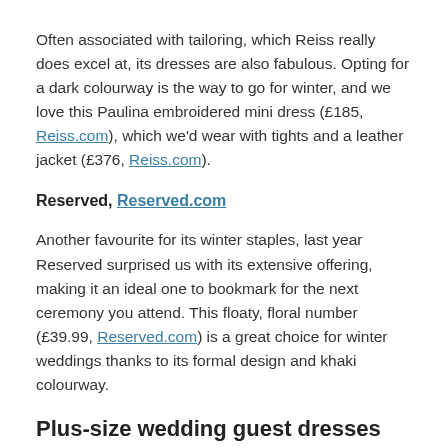Often associated with tailoring, which Reiss really does excel at, its dresses are also fabulous. Opting for a dark colourway is the way to go for winter, and we love this Paulina embroidered mini dress (£185, Reiss.com), which we'd wear with tights and a leather jacket (£376, Reiss.com).
Reserved, Reserved.com
Another favourite for its winter staples, last year Reserved surprised us with its extensive offering, making it an ideal one to bookmark for the next ceremony you attend. This floaty, floral number (£39.99, Reserved.com) is a great choice for winter weddings thanks to its formal design and khaki colourway.
Plus-size wedding guest dresses